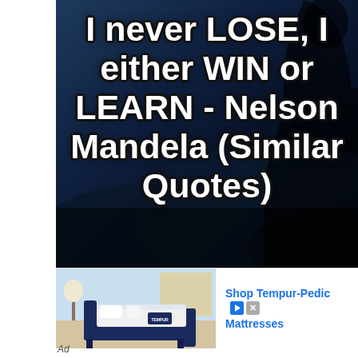[Figure (illustration): Dark navy/black background with silhouette of a person, rolling hills. Bold white text overlay: 'I never LOSE, I either WIN or LEARN - Nelson Mandela (Similar Quotes)']
I never LOSE, I either WIN or LEARN - Nelson Mandela (Similar Quotes)
[Figure (photo): Advertisement banner showing a Tempur-Pedic mattress on a dark blue bed frame in a bedroom setting. Text reads 'Shop Tempur-Pedic Mattresses']
Ad